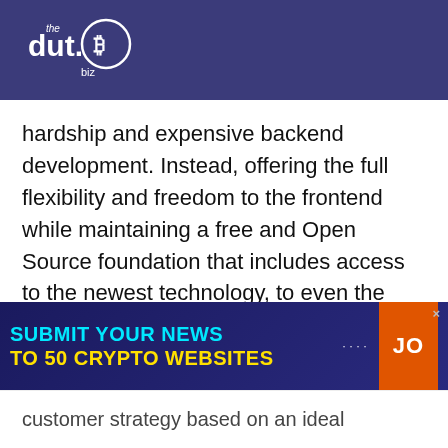the dut.B biz
hardship and expensive backend development. Instead, offering the full flexibility and freedom to the frontend while maintaining a free and Open Source foundation that includes access to the newest technology, to even the smallest of organizations.
About AesirX
[Figure (infographic): Advertisement banner: SUBMIT YOUR NEWS TO 50 CRYPTO WEBSITES with a JOIN button in orange]
customer strategy based on an ideal